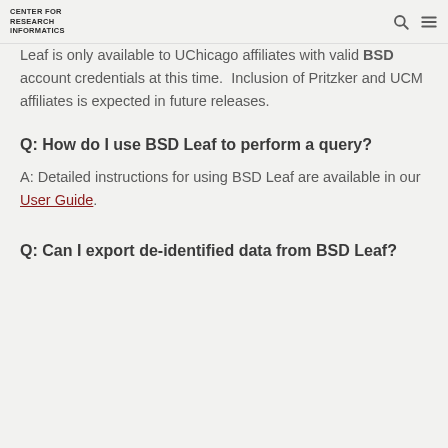CENTER FOR RESEARCH INFORMATICS
Leaf is only available to UChicago affiliates with valid BSD account credentials at this time.  Inclusion of Pritzker and UCM affiliates is expected in future releases.
Q: How do I use BSD Leaf to perform a query?
A: Detailed instructions for using BSD Leaf are available in our User Guide.
Q: Can I export de-identified data from BSD Leaf?